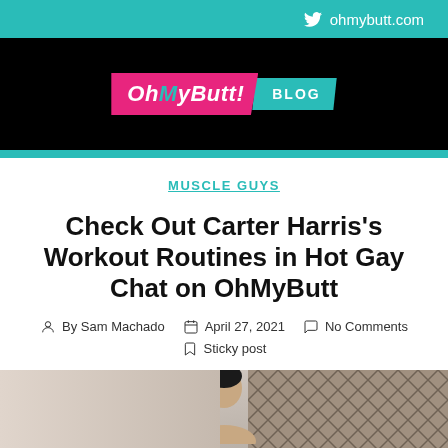ohmybutt.com
[Figure (logo): OhMyButt! BLOG logo — pink banner with italic bold white text 'OhMyButt!' and teal banner with 'BLOG']
MUSCLE GUYS
Check Out Carter Harris's Workout Routines in Hot Gay Chat on OhMyButtt
By Sam Machado   April 27, 2021   No Comments   Sticky post
[Figure (photo): Bottom portion of page showing a person's head/shoulders photo against a patterned background]